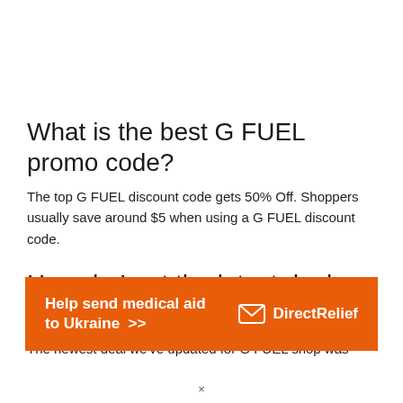What is the best G FUEL promo code?
The top G FUEL discount code gets 50% Off. Shoppers usually save around $5 when using a G FUEL discount code.
How do I get the latest deals from G FUEL?
The newest deal we've updated for G FUEL shop was
[Figure (infographic): Orange advertisement banner reading 'Help send medical aid to Ukraine >>' with Direct Relief logo on the right]
×